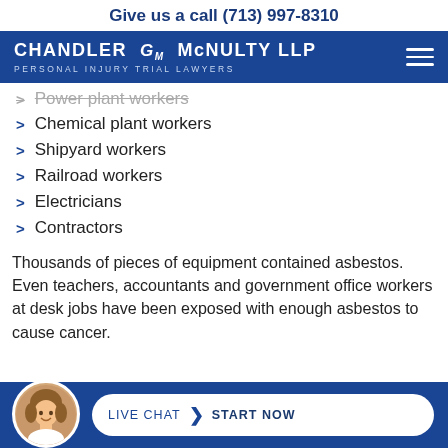Give us a call (713) 997-8310
[Figure (logo): Chandler CM McNulty LLP – Personal Injury Trial Lawyers logo on blue background with hamburger menu icon]
Power plant workers (strikethrough/partially visible)
Chemical plant workers
Shipyard workers
Railroad workers
Electricians
Contractors
Thousands of pieces of equipment contained asbestos. Even teachers, accountants and government office workers at desk jobs have been exposed with enough asbestos to cause cancer.
[Figure (infographic): Live chat bar with avatar photo and button reading LIVE CHAT > START NOW on blue background]